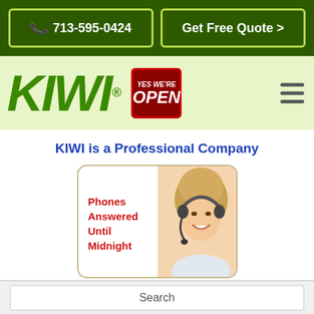📞 713-595-0424   Get Free Quote >
[Figure (logo): KIWI logo in bold green italic text with registered trademark symbol, and a red 'Yes We're OPEN' badge next to it, with a hamburger menu icon on the right]
KIWI is a Professional Company
[Figure (photo): A smiling woman with a headset next to text reading 'Phones Answered Until Midnight' in red bold font, inside a rounded rectangle card]
Search